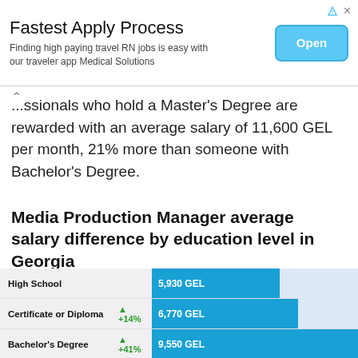[Figure (screenshot): Advertisement banner: 'Fastest Apply Process — Finding high paying travel RN jobs is easy with our traveler app Medical Solutions' with an Open button]
...Professionals who hold a Master's Degree are rewarded with an average salary of 11,600 GEL per month, 21% more than someone with Bachelor's Degree.
Media Production Manager average salary difference by education level in Georgia
[Figure (bar-chart): Media Production Manager average salary difference by education level in Georgia]